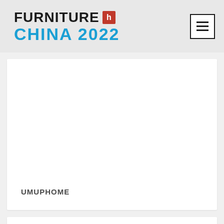FURNITURE [h] CHINA 2022
[Figure (screenshot): White card panel with UMUPHOME label at the bottom left]
UMUPHOME
[Figure (screenshot): Second white card panel, partially visible at the bottom of the page]